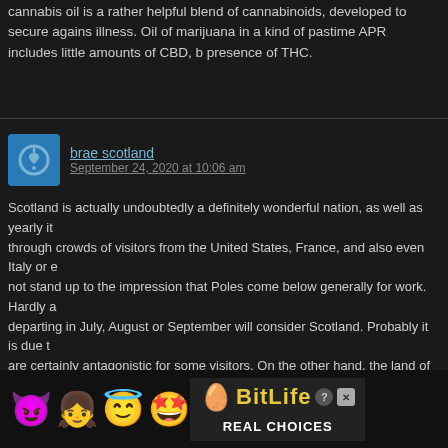cannabis oil is a rather helpful blend of cannabinoids, developed to secure against illness. Oil of marijuana in a kind of pastime APR includes little amounts of CBD, but presence of THC.
brae scotland
September 24, 2020 at 10:06 am
Scotland is actually undoubtedly a definitely wonderful nation, as well as yearly it through crowds of visitors from the United States, France, and also even Italy or e not stand up to the impression that Poles come below generally for work. Hardly a departing in July, August or September will consider Scotland. Probably it is due t are certainly antagonistic for some visitors. On the other hand, the land of Nessi a kilts is actually most definitely worth a short or lengthy adventure. Maybe it is actu about it straight now, when the value of the extra pound is falling, as well as hence much less for a holiday in Scotland? Glen Affric in early springtime Thus why is it is mostly a terrific landscape in the north of the country. Highlands– hillsides cover also heathers, deeper lochs (ponds), a dramatic coast line, glen (attractive valleys all, hardly located in Europe (particularly in Scotland!) wilderness, where our team observe a singular home. Space, area and area again! Wild attribute, a wealth of various other animals await attribute fanatics. In Scotland, I have actually presentl watch tapes, dolphins and even deer. But Scotland is likewise a traditionally fascin (that checked out Brave Heart?), Where you can see impressive rock fortress (Ed Linlithgow, Eilean Donan). The financing on its own, the maj burgh, also focus, specifically throughout the summertime events. country Scotland, scottish S Scotland, nd Scotland Scotland, rt Scotland, food sele tland, auto S
[Figure (other): Advertisement banner for BitLife game with emoji characters (devil, girl with halo, winking face), BitLife logo in yellow, REAL CHOICES text, help and close buttons]